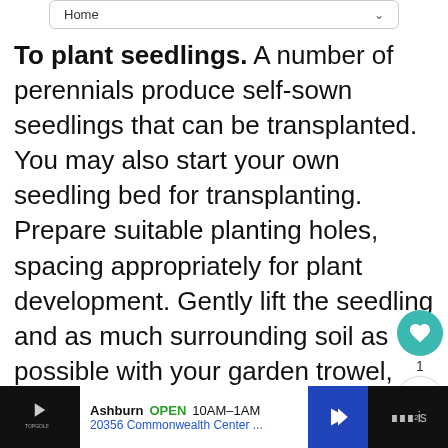Home
To plant seedlings. A number of perennials produce self-sown seedlings that can be transplanted. You may also start your own seedling bed for transplanting. Prepare suitable planting holes, spacing appropriately for plant development. Gently lift the seedling and as much surrounding soil as possible with your garden trowel, and replant it immediately, firming soil with fingertips and water well. Shade from direct sun and water regularly until stable.
How-to : Potting Indoor Plants
[Figure (other): What's Next promotional card showing Begonia – Summer and... with a flower thumbnail]
[Figure (other): Advertisement bar: Topgolf Ashburn OPEN 10AM-1AM 20356 Commonwealth Center...]